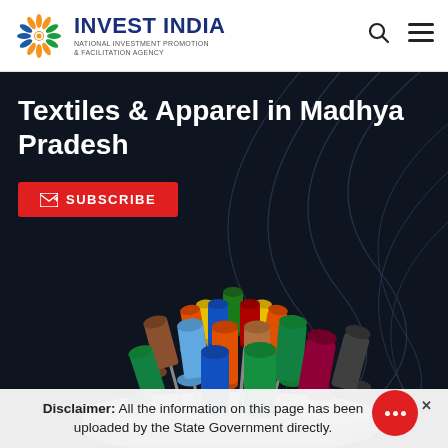INVEST INDIA — NATIONAL INVESTMENT PROMOTION & FACILITATION AGENCY
Textiles & Apparel in Madhya Pradesh
[Figure (illustration): Colorful thread spools on an embroidery machine, arranged in rows on a metallic holder, set against a dark background with white swirl patterns]
SUBSCRIBE
Disclaimer: All the information on this page has been uploaded by the State Government directly.